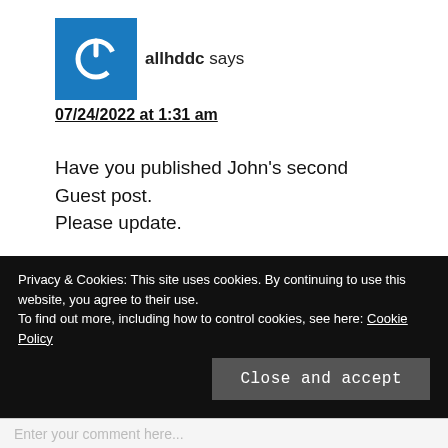[Figure (logo): Blue square avatar with white power button icon]
allhddc says
07/24/2022 at 1:31 am
Have you published John's second Guest post. Please update.
Reply
Privacy & Cookies: This site uses cookies. By continuing to use this website, you agree to their use.
To find out more, including how to control cookies, see here: Cookie Policy
Close and accept
Enter your comment here...